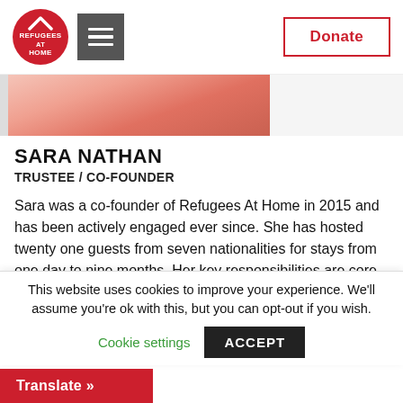Refugees At Home — Donate
[Figure (photo): Partial photo of a person wearing a pink top, cropped to show upper body]
SARA NATHAN
TRUSTEE / CO-FOUNDER
Sara was a co-founder of Refugees At Home in 2015 and has been actively engaged ever since. She has hosted twenty one guests from seven nationalities for stays from one day to nine months. Her key responsibilities are core operations, media and social media, and she is
This website uses cookies to improve your experience. We'll assume you're ok with this, but you can opt-out if you wish.
Cookie settings  ACCEPT
Translate »